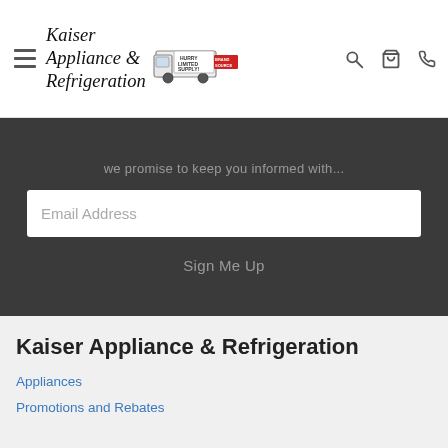[Figure (logo): Kaiser Appliance & Refrigeration logo with truck and Brand Source badge]
we promise to keep you informed with...
Email Address
Sign Me Up
Kaiser Appliance & Refrigeration
Appliances
Promotions and Rebates